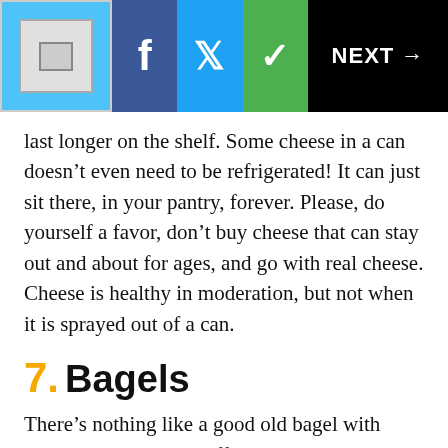NEXT →
last longer on the shelf. Some cheese in a can doesn't even need to be refrigerated! It can just sit there, in your pantry, forever. Please, do yourself a favor, don't buy cheese that can stay out and about for ages, and go with real cheese. Cheese is healthy in moderation, but not when it is sprayed out of a can.
7. Bagels
There's nothing like a good old bagel with cream cheese to start off your day right. Or better yet, a BLT sandwich made with sliced bagels instead of bread. Bagels are just yummy, no matter what you eat them with. However, you might be surprised –